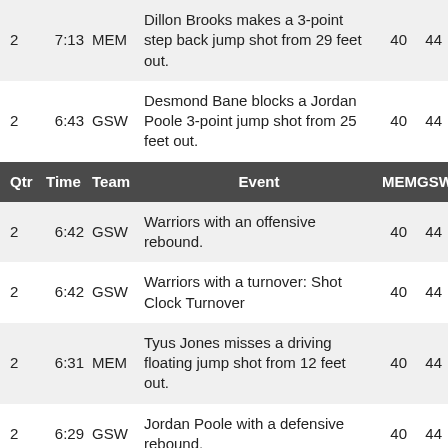| Qtr | Time | Team | Event | MEM | GSW |
| --- | --- | --- | --- | --- | --- |
| 2 | 7:13 | MEM | Dillon Brooks makes a 3-point step back jump shot from 29 feet out. | 40 | 44 |
| 2 | 6:43 | GSW | Desmond Bane blocks a Jordan Poole 3-point jump shot from 25 feet out. | 40 | 44 |
| 2 | 6:42 | GSW | Warriors with an offensive rebound. | 40 | 44 |
| 2 | 6:42 | GSW | Warriors with a turnover: Shot Clock Turnover | 40 | 44 |
| 2 | 6:31 | MEM | Tyus Jones misses a driving floating jump shot from 12 feet out. | 40 | 44 |
| 2 | 6:29 | GSW | Jordan Poole with a defensive rebound. | 40 | 44 |
| 2 | 6:22 | GSW | Tyus Jones steals the ball from Andrew Wiggins. | 40 | 44 |